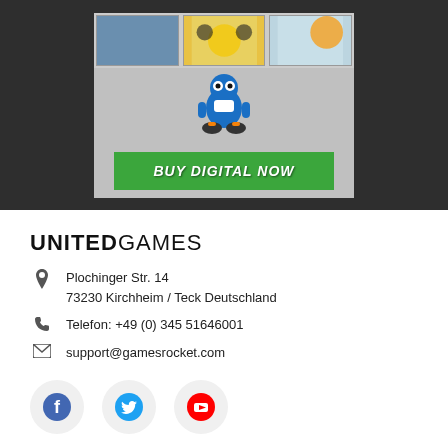[Figure (screenshot): Dark background section with a game advertisement showing game thumbnails at top, a blue robot character, and a green 'BUY DIGITAL NOW' button]
UNITEDGAMES
Plochinger Str. 14
73230 Kirchheim / Teck Deutschland
Telefon: +49 (0) 345 51646001
support@gamesrocket.com
[Figure (illustration): Social media icons: Facebook (blue f), Twitter (blue bird), YouTube (red play button), each in light gray circles]
HELP & SERVICES